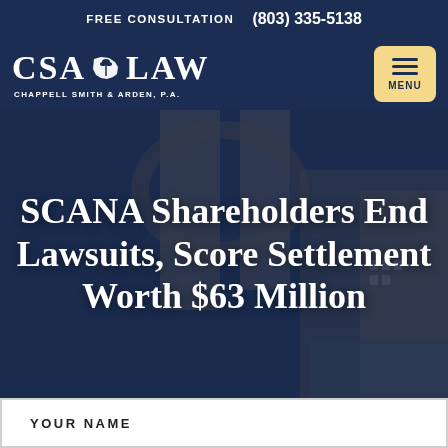FREE CONSULTATION (803) 335-5138
[Figure (logo): CSA Law - Chappell Smith & Arden, P.A. logo with South Carolina state silhouette and palm tree icon, white text on dark navy background]
SCANA Shareholders End Lawsuits, Score Settlement Worth $63 Million
YOUR NAME